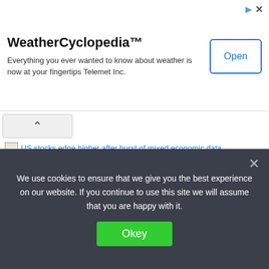[Figure (screenshot): Advertisement banner for WeatherCyclopedia with Open button]
WeatherCyclopedia™
Everything you ever wanted to know about weather is now at your fingertips Telemet Inc.
[Figure (screenshot): Navigation back arrow button]
[Figure (photo): US stocks edge higher after burst of mixed economic data (broken image placeholder)]
US stocks edge higher after burst of mixed economic data
Leave a Comment / Finance / By admin
Wall Street stocks edged higher on Thursday after disappointing
We use cookies to ensure that we give you the best experience on our website. If you continue to use this site we will assume that you are happy with it.